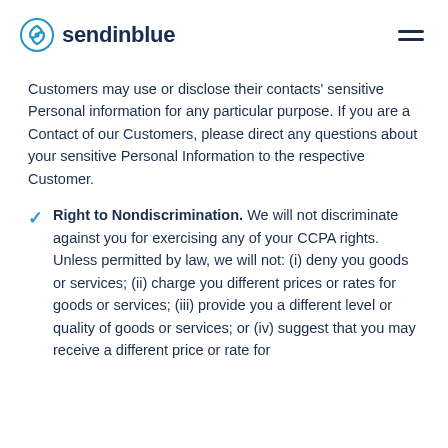sendinblue
Customers may use or disclose their contacts' sensitive Personal information for any particular purpose. If you are a Contact of our Customers, please direct any questions about your sensitive Personal Information to the respective Customer.
Right to Nondiscrimination. We will not discriminate against you for exercising any of your CCPA rights. Unless permitted by law, we will not: (i) deny you goods or services; (ii) charge you different prices or rates for goods or services; (iii) provide you a different level or quality of goods or services; or (iv) suggest that you may receive a different price or rate for